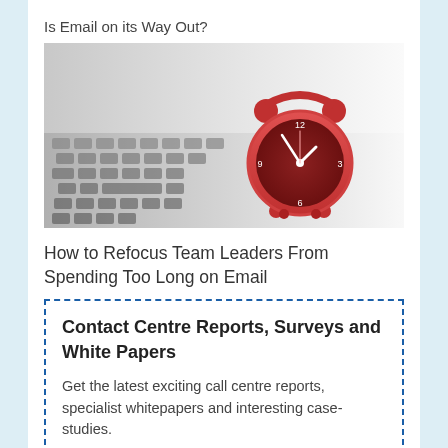Is Email on its Way Out?
[Figure (photo): Red alarm clock sitting on a laptop keyboard, soft focus background]
How to Refocus Team Leaders From Spending Too Long on Email
Contact Centre Reports, Surveys and White Papers
Get the latest exciting call centre reports, specialist whitepapers and interesting case-studies.